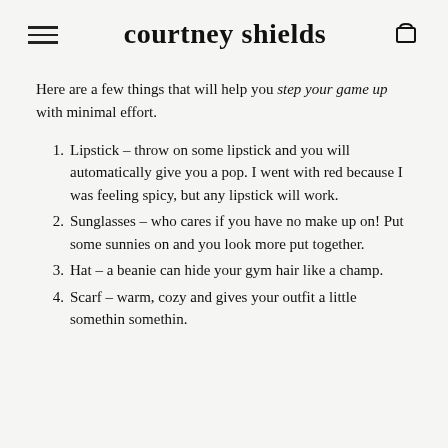courtney shields
Here are a few things that will help you step your game up with minimal effort.
Lipstick – throw on some lipstick and you will automatically give you a pop. I went with red because I was feeling spicy, but any lipstick will work.
Sunglasses – who cares if you have no make up on! Put some sunnies on and you look more put together.
Hat – a beanie can hide your gym hair like a champ.
Scarf – warm, cozy and gives your outfit a little somethin somethin.